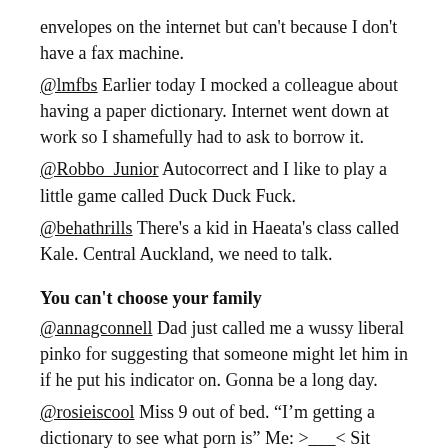envelopes on the internet but can't because I don't have a fax machine.
@lmfbs Earlier today I mocked a colleague about having a paper dictionary. Internet went down at work so I shamefully had to ask to borrow it.
@Robbo_Junior Autocorrect and I like to play a little game called Duck Duck Fuck.
@behathrills There's a kid in Haeata's class called Kale. Central Auckland, we need to talk.
You can't choose your family
@annagconnell Dad just called me a wussy liberal pinko for suggesting that someone might let him in if he put his indicator on. Gonna be a long day.
@rosieiscool Miss 9 out of bed. "I'm getting a dictionary to see what porn is" Me: >___< Sit down, I'll explain, it's tricky. Miss 9: OK, what's p.a.w.n
@Tweet_Ti My husband has run out of songs to entertain